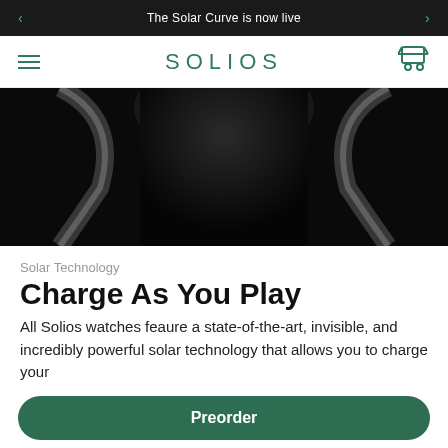The Solar Curve is now live
[Figure (logo): SOLIOS brand logo with hamburger menu and cart icon]
[Figure (photo): Dark close-up photo of a solar watch against black background]
Solar Technology
Charge As You Play
All Solios watches feaure a state-of-the-art, invisible, and incredibly powerful solar technology that allows you to charge your
Preorder
Free shipping worldwide | New orders will ship in September